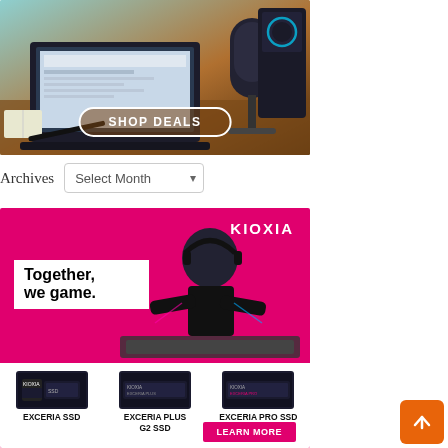[Figure (photo): Advertisement banner showing a laptop and gaming microphone on a desk with 'SHOP DEALS' button]
Archives   Select Month ▾
[Figure (infographic): Kioxia advertisement with gaming theme 'Together, we game.' showing EXCERIA SSD, EXCERIA PLUS G2 SSD, and EXCERIA PRO SSD products with a LEARN MORE button]